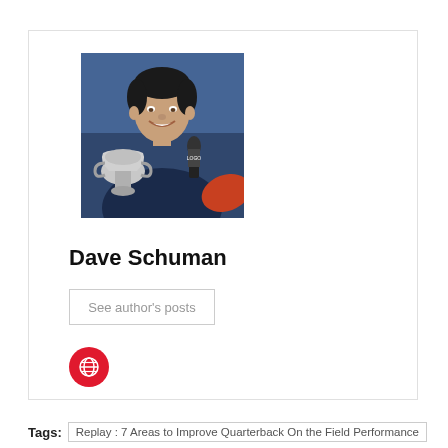[Figure (photo): Photo of Dave Schuman holding a trophy and a microphone, smiling, at a sporting event]
Dave Schuman
See author's posts
[Figure (logo): Red circular social media icon with a globe/link symbol]
Tags: Replay : 7 Areas to Improve Quarterback On the Field Performance